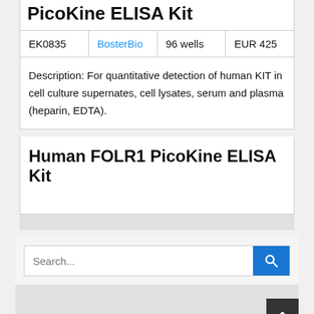PicoKine ELISA Kit
| EK0835 | BosterBio | 96 wells | EUR 425 |
| --- | --- | --- | --- |
Description: For quantitative detection of human KIT in cell culture supernates, cell lysates, serum and plasma (heparin, EDTA).
Human FOLR1 PicoKine ELISA Kit
Search...
RECENT POSTS